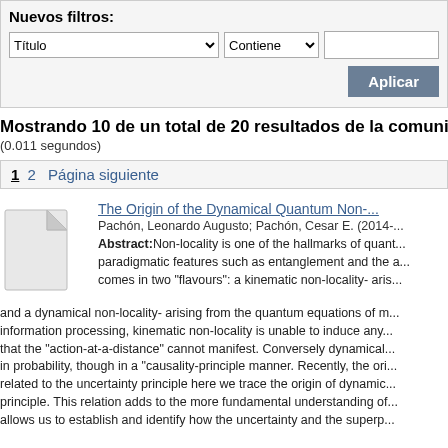Nuevos filtros:
Título | Contiene | [input]
Aplicar
Mostrando 10 de un total de 20 resultados de la comunid...
(0.011 segundos)
1 2 Página siguiente
[Figure (illustration): Document thumbnail icon - blank page with folded corner]
The Origin of the Dynamical Quantum Non-...
Pachón, Leonardo Augusto; Pachón, Cesar E. (2014-...
Abstract: Non-locality is one of the hallmarks of quantum mechanics with paradigmatic features such as entanglement and the ... comes in two "flavours": a kinematic non-locality- arising ... and a dynamical non-locality- arising from the quantum equations of m... information processing, kinematic non-locality is unable to induce any... that the "action-at-a-distance" cannot manifest. Conversely dynamical... in probability, though in a "causality-principle manner. Recently, the ori... related to the uncertainty principle here we trace the origin of dynamic... principle. This relation adds to the more fundamental understanding of... allows us to establish and identify how the uncertainty and the superp...